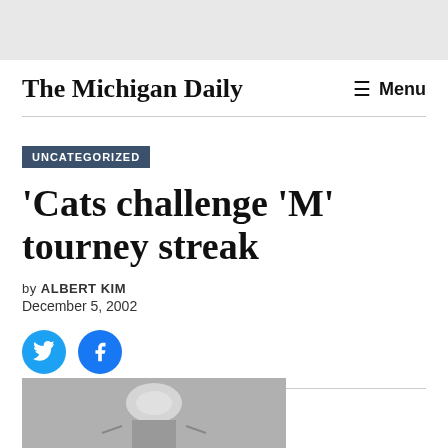The Michigan Daily
UNCATEGORIZED
'Cats challenge 'M' tourney streak
by ALBERT KIM
December 5, 2002
[Figure (photo): Black and white photograph, partially visible at the bottom of the page, showing a figure with a helmet or similar object]